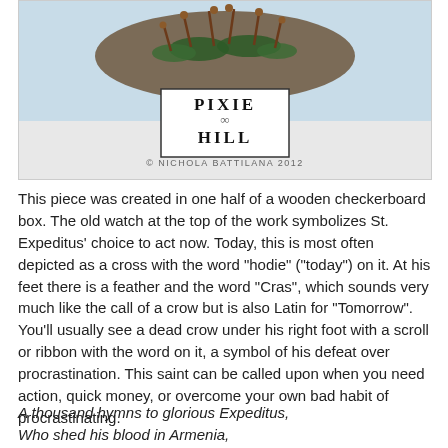[Figure (photo): A decorative craft piece with plant/nature elements at the top and a Pixie Hill logo box with copyright text at the bottom of the image frame.]
This piece was created in one half of a wooden checkerboard box. The old watch at the top of the work symbolizes St. Expeditus' choice to act now. Today, this is most often depicted as a cross with the word "hodie" ("today") on it. At his feet there is a feather and the word "Cras", which sounds very much like the call of a crow but is also Latin for "Tomorrow". You'll usually see a dead crow under his right foot with a scroll or ribbon with the word on it, a symbol of his defeat over procrastination. This saint can be called upon when you need action, quick money, or overcome your own bad habit of procrastinating.
A thousand hymns to glorious Expeditus,
Who shed his blood in Armenia,
Whose name was written in the sky,